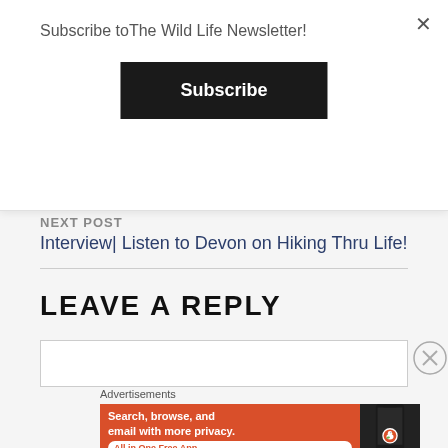Subscribe toThe Wild Life Newsletter!
Subscribe
NEXT POST
Interview| Listen to Devon on Hiking Thru Life!
LEAVE A REPLY
Advertisements
[Figure (screenshot): DuckDuckGo advertisement banner: orange background with text 'Search, browse, and email with more privacy. All in One Free App' and a phone showing the DuckDuckGo app]